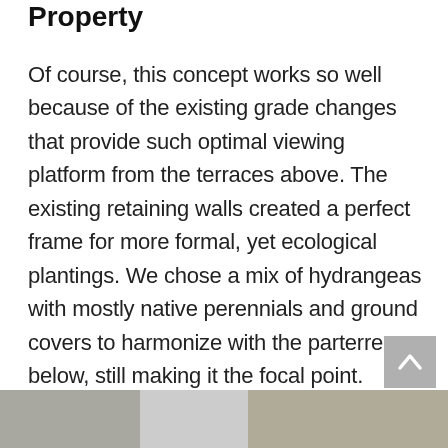Property
Of course, this concept works so well because of the existing grade changes that provide such optimal viewing platform from the terraces above. The existing retaining walls created a perfect frame for more formal, yet ecological plantings. We chose a mix of hydrangeas with mostly native perennials and ground covers to harmonize with the parterre below, still making it the focal point.
[Figure (photo): Two partial photos visible at the bottom of the page — a snowy or light-colored landscape on the left, and a textured outdoor scene on the right]